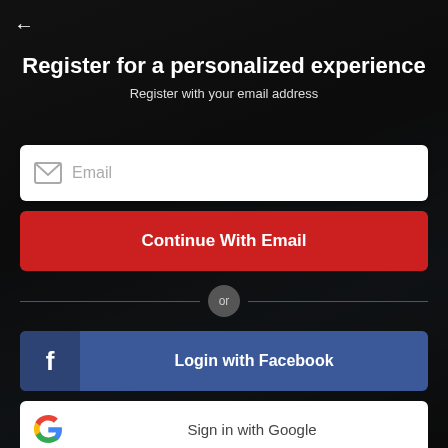[Figure (screenshot): Blurred real estate website background with dark overlay]
←
Register for a personalized experience
Register with your email address
Email
Continue With Email
or
Login with Facebook
Sign in with Google
Already registered? Log in
In agreement with our Terms of Use